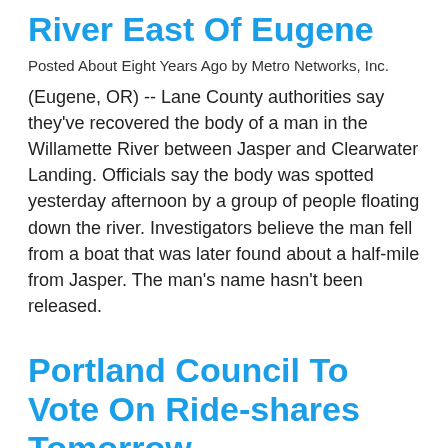River East Of Eugene
Posted About Eight Years Ago by Metro Networks, Inc.
(Eugene, OR)  --  Lane County authorities say they've recovered the body of a man in the Willamette River between Jasper and Clearwater Landing.  Officials say the body was spotted yesterday afternoon by a group of people floating down the river.  Investigators believe the man fell from a boat that was later found about a half-mile from Jasper.  The man's name hasn't been released.
Portland Council To Vote On Ride-shares Tomorrow
Posted About Eight Years Ago by Metro Networks, Inc.
(Portland, OR)  --  The Portland City Council is scheduled to vote tomorrow on whether to approve a